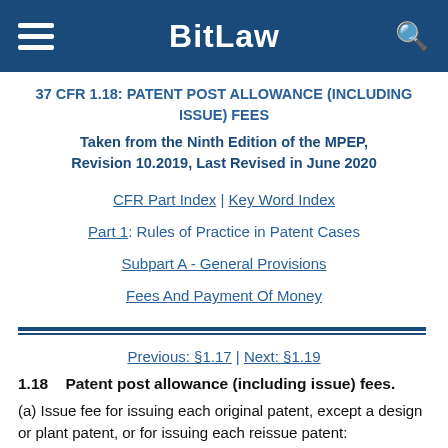BitLaw
37 CFR 1.18: PATENT POST ALLOWANCE (INCLUDING ISSUE) FEES
Taken from the Ninth Edition of the MPEP, Revision 10.2019, Last Revised in June 2020
CFR Part Index | Key Word Index
Part 1: Rules of Practice in Patent Cases
Subpart A - General Provisions
Fees And Payment Of Money
Previous: §1.17 | Next: §1.19
1.18   Patent post allowance (including issue) fees.
(a) Issue fee for issuing each original patent, except a design or plant patent, or for issuing each reissue patent: